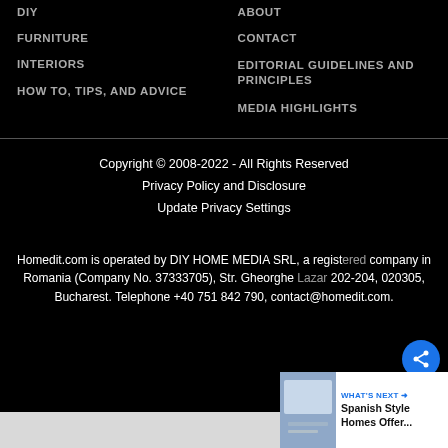DIY
FURNITURE
INTERIORS
HOW TO, TIPS, AND ADVICE
ABOUT
CONTACT
EDITORIAL GUIDELINES AND PRINCIPLES
MEDIA HIGHLIGHTS
Copyright © 2008-2022 - All Rights Reserved
Privacy Policy and Disclosure
Update Privacy Settings
Homedit.com is operated by DIY HOME MEDIA SRL, a registered company in Romania (Company No. 37333705), Str. Gheorghe Lazar 202-204, 020305, Bucharest. Telephone +40 751 842 790, contact@homedit.com.